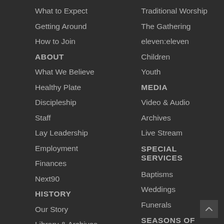What to Expect
Getting Around
How to Join
ABOUT
What We Believe
Healthy Plate
Discipleship
Staff
Lay Leadership
Employment
Finances
Next90
HISTORY
Our Story
Library & Archives
Traditional Worship
The Gathering
eleven:eleven
Children
Youth
MEDIA
Video & Audio
Archives
Live Stream
SPECIAL SERVICES
Baptisms
Weddings
Funerals
SEASONS OF WORSHIP